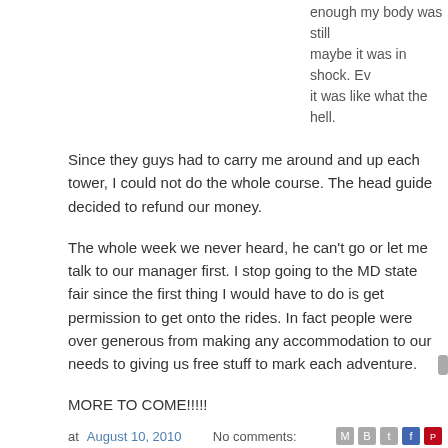enough my body was still maybe it was in shock. Ev it was like what the hell.
Since they guys had to carry me around and up each tower, I could not do the whole course. The head guide decided to refund our money.
The whole week we never heard, he can't go or let me talk to our manager first. I stop going to the MD state fair since the first thing I would have to do is get permission to get onto the rides. In fact people were over generous from making any accommodation to our needs to giving us free stuff to mark each adventure.
MORE TO COME!!!!!
at August 10, 2010   No comments: